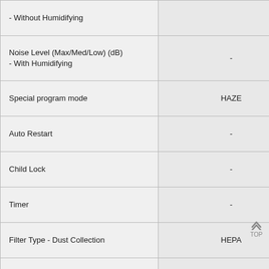| Feature | Value |
| --- | --- |
| - Without Humidifying |  |
| Noise Level (Max/Med/Low) (dB)
- With Humidifying | - |
| Special program mode | HAZE |
| Auto Restart | - |
| Child Lock | - |
| Timer | - |
| Filter Type - Dust Collection | HEPA |
| Filter Type - Deodorization | Yes |
| Filter Type - Pre-filter | Yes |
| Filter Type - Humidifying | - |
| Filter Life - Dust Collection | Up to 2 years |